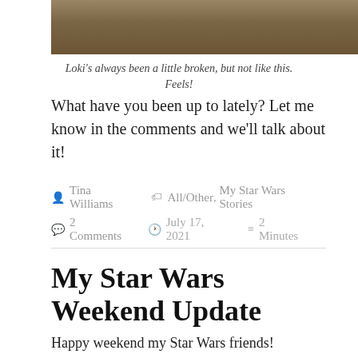[Figure (photo): Partial photo of a person (appears to be Loki character), cropped at top]
Loki's always been a little broken, but not like this. Feels!
What have you been up to lately? Let me know in the comments and we'll talk about it!
Tina Williams  All/Other, My Star Wars Stories  2 Comments  July 17, 2021  2 Minutes
My Star Wars Weekend Update
Happy weekend my Star Wars friends!